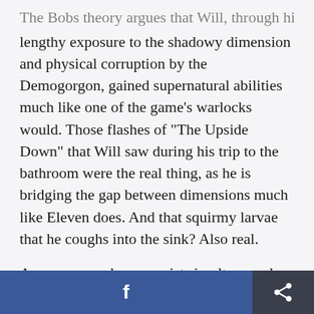The Bobs theory argues that Will, through his lengthy exposure to the shadowy dimension and physical corruption by the Demogorgon, gained supernatural abilities much like one of the game's warlocks would. Those flashes of "The Upside Down" that Will saw during his trip to the bathroom were the real thing, as he is bridging the gap between dimensions much like Eleven does. And that squirmy larvae that he coughs into the sink? Also real.
As someone who can exist simultaneously between
f  [share icon]